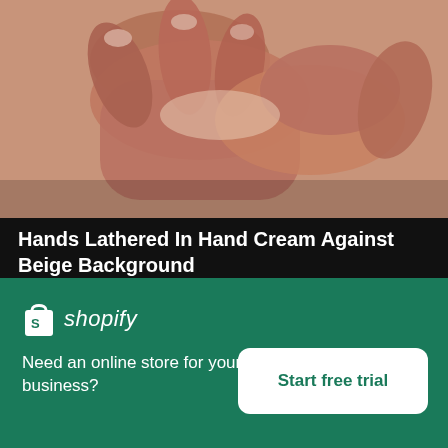[Figure (photo): Close-up of hands rubbing/lathering hand cream against a beige/skin-tone background]
Hands Lathered In Hand Cream Against Beige Background
High resolution download ↓
[Figure (photo): Partial view of a second image showing a beige/cream colored surface]
×
[Figure (logo): Shopify logo — shopping bag icon and italic shopify wordmark in white]
Need an online store for your business?
Start free trial